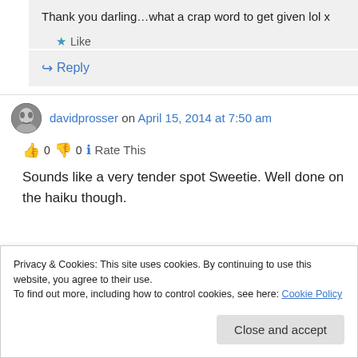Thank you darling…what a crap word to get given lol x
★ Like
↪ Reply
davidprosser on April 15, 2014 at 7:50 am
👍 0 👎 0 ℹ Rate This
Sounds like a very tender spot Sweetie. Well done on the haiku though.
Privacy & Cookies: This site uses cookies. By continuing to use this website, you agree to their use. To find out more, including how to control cookies, see here: Cookie Policy
Close and accept